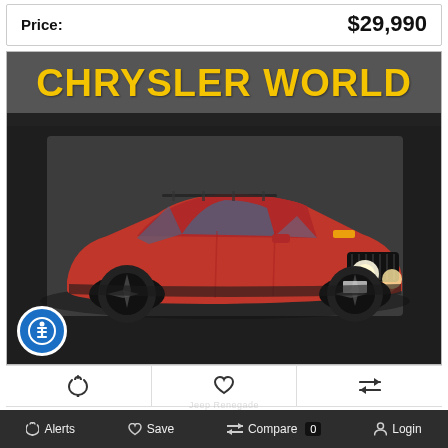Price:
$29,990
[Figure (photo): Red Jeep Renegade SUV photographed inside a dealership showroom with lights on. A 'Chrysler World' dealer banner is displayed at the top of the image in large yellow bold text on a gray background.]
Alerts  Save  Compare 0  Login